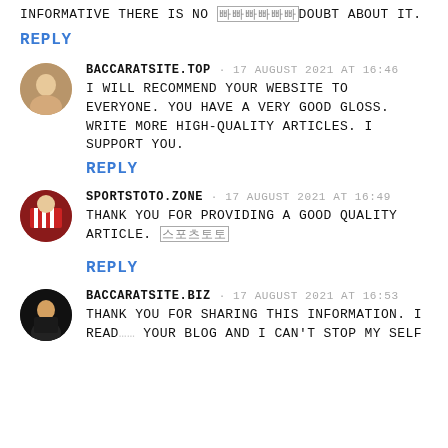INFORMATIVE THERE IS NO 빠빠빠빠빠빠DOUBT ABOUT IT.
REPLY
BACCARATSITE.TOP · 17 August 2021 at 16:46
I will recommend your website to everyone. You have a very good gloss. Write more high-quality articles. I support you.
REPLY
SPORTSTOTO.ZONE · 17 August 2021 at 16:49
Thank you for providing a good quality article. 스포츠토토
REPLY
BACCARATSITE.BIZ · 17 August 2021 at 16:53
Thank you for sharing this information. I read your blog and I can't stop my self